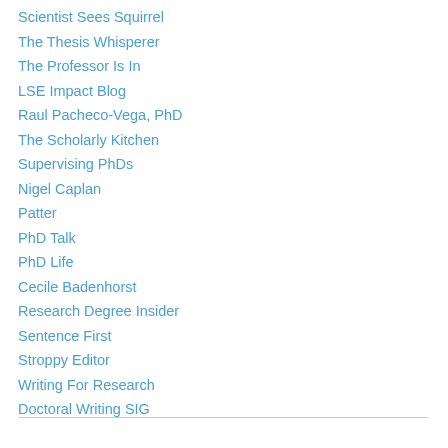Scientist Sees Squirrel
The Thesis Whisperer
The Professor Is In
LSE Impact Blog
Raul Pacheco-Vega, PhD
The Scholarly Kitchen
Supervising PhDs
Nigel Caplan
Patter
PhD Talk
PhD Life
Cecile Badenhorst
Research Degree Insider
Sentence First
Stroppy Editor
Writing For Research
Doctoral Writing SIG